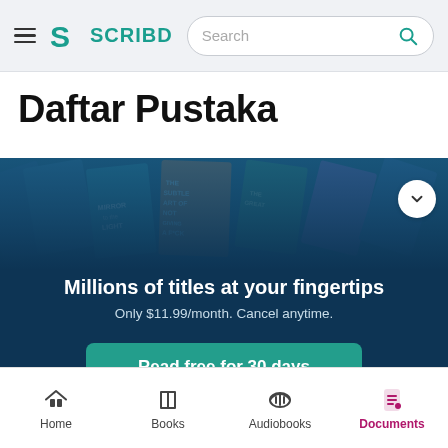Scribd navigation bar with hamburger menu, Scribd logo, and search field
Daftar Pustaka
[Figure (screenshot): Scribd promotional banner showing book covers at top, dark blue background with text 'Millions of titles at your fingertips', 'Only $11.99/month. Cancel anytime.', a teal 'Read free for 30 days' button, and 'Learn more' link. A chevron/down button appears top-right.]
Bottom navigation bar: Home, Books, Audiobooks, Documents (active)